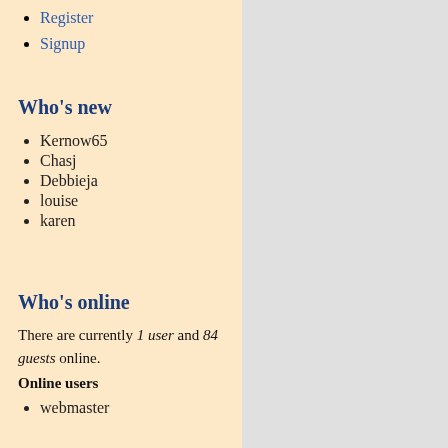Register
Signup
Who's new
Kernow65
Chasj
Debbieja
louise
karen
Who's online
There are currently 1 user and 84 guests online.
Online users
webmaster